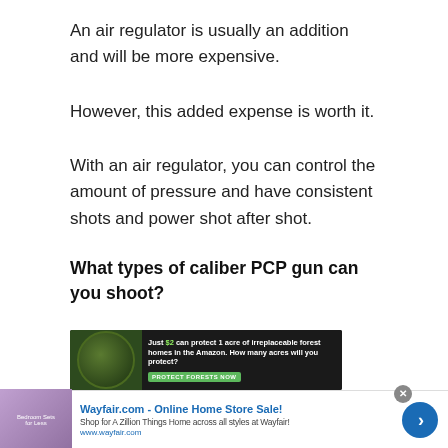An air regulator is usually an addition and will be more expensive.
However, this added expense is worth it.
With an air regulator, you can control the amount of pressure and have consistent shots and power shot after shot.
What types of caliber PCP gun can you shoot?
[Figure (photo): Advertisement banner: 'Just $2 can protect 1 acre of irreplaceable forest homes in the Amazon. How many acres will you protect?' with a green Protect Forests Now button and rainforest imagery.]
[Figure (photo): Wayfair.com advertisement: 'Online Home Store Sale! Shop for A Zillion Things Home across all styles at Wayfair! www.wayfair.com' with a bedroom furniture image and blue arrow button.]